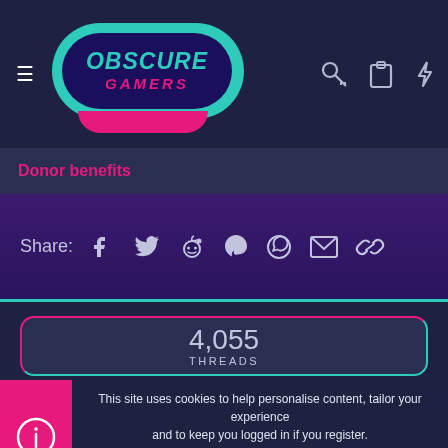[Figure (logo): Obscure Gamers logo - teal pill shape with dark interior, teal text OBSCURE, pink text GAMERS, pink curved accent at bottom]
Donor benefits
Share:
4,055
THREADS
This site uses cookies to help personalise content, tailor your experience and to keep you logged in if you register.
By continuing to use this site, you are consenting to our use of cookies.
✓ Accept
Learn more...